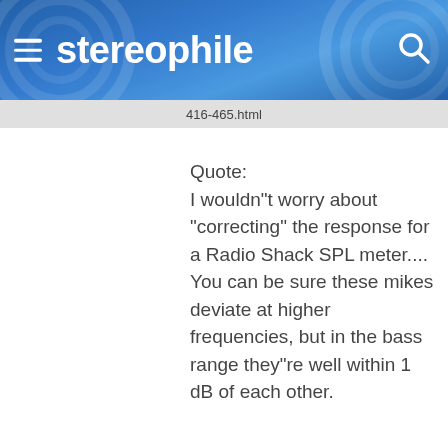stereophile
416-465.html
Quote:
I wouldn"t worry about "correcting" the response for a Radio Shack SPL meter.... You can be sure these mikes deviate at higher frequencies, but in the bass range they"re well within 1 dB of each other.